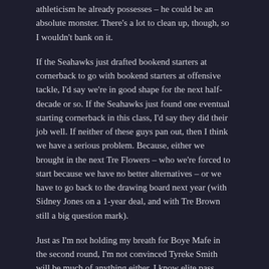athleticism he already possesses – he could be an absolute monster. There's a lot to clean up, though, so I wouldn't bank on it.
If the Seahawks just drafted bookend starters at cornerback to go with bookend starters at offensive tackle, I'd say we're in good shape for the next half-decade or so. If the Seahawks just found one eventual starting cornerback in this class, I'd say they did their job well. If neither of these guys pan out, then I think we have a serious problem. Because, either we brought in the next Tre Flowers – who we're forced to start because we have no better alternatives – or we have to go back to the drawing board next year (with Sidney Jones on a 1-year deal, and with Tre Brown still a big question mark).
Just as I'm not holding my breath for Boye Mafe in the second round, I'm not convinced Tyreke Smith will be much of anything either. I know elite pass rushers exist from outside the Top 5 of the NFL Draft, but it seems like those guys are total unicorns. Even with someone like Darrell Taylor – who I'm very happy with – he had to miss